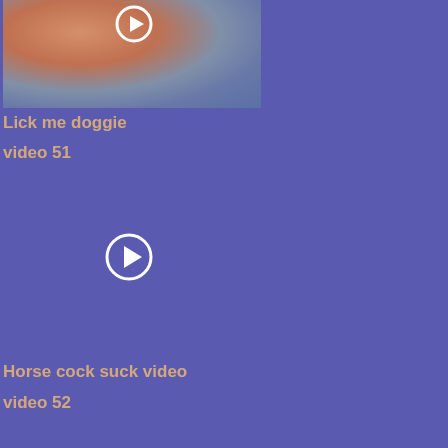[Figure (photo): Thumbnail image of a video, partially visible, showing close-up of denim fabric and skin tones with a play button overlay at the top]
Lick me doggie
video 51
[Figure (other): Play button icon (circle with triangle) on plain purple background representing a video thumbnail placeholder]
Horse cock suck video
video 52